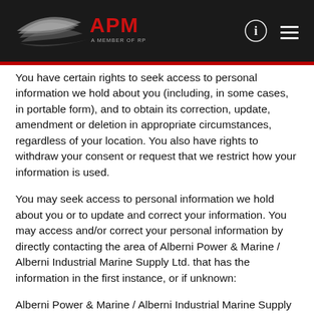APM - A Member of RPM Group
You have certain rights to seek access to personal information we hold about you (including, in some cases, in portable form), and to obtain its correction, update, amendment or deletion in appropriate circumstances, regardless of your location. You also have rights to withdraw your consent or request that we restrict how your information is used.
You may seek access to personal information we hold about you or to update and correct your information. You may access and/or correct your personal information by directly contacting the area of Alberni Power & Marine / Alberni Industrial Marine Supply Ltd. that has the information in the first instance, or if unknown:
Alberni Power & Marine / Alberni Industrial Marine Supply Ltd.